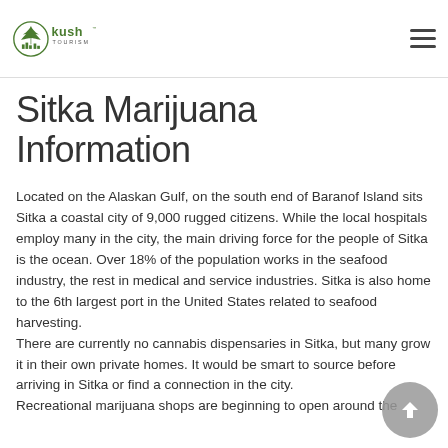Kush Tourism
Sitka Marijuana Information
Located on the Alaskan Gulf, on the south end of Baranof Island sits Sitka a coastal city of 9,000 rugged citizens. While the local hospitals employ many in the city, the main driving force for the people of Sitka is the ocean. Over 18% of the population works in the seafood industry, the rest in medical and service industries. Sitka is also home to the 6th largest port in the United States related to seafood harvesting.
There are currently no cannabis dispensaries in Sitka, but many grow it in their own private homes. It would be smart to source before arriving in Sitka or find a connection in the city.
Recreational marijuana shops are beginning to open around the